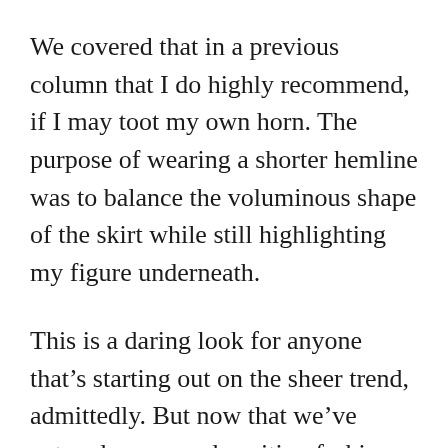We covered that in a previous column that I do highly recommend, if I may toot my own horn. The purpose of wearing a shorter hemline was to balance the voluminous shape of the skirt while still highlighting my figure underneath.
This is a daring look for anyone that's starting out on the sheer trend, admittedly. But now that we've entered a new and exciting fashion season you'll find touches of sheer fabulousness at your favorite high street or high end shops!
As we're in October this is the perfect time to try